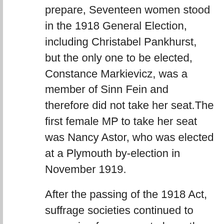prepare, Seventeen women stood in the 1918 General Election, including Christabel Pankhurst, but the only one to be elected, Constance Markievicz, was a member of Sinn Fein and therefore did not take her seat.The first female MP to take her seat was Nancy Astor, who was elected at a Plymouth by-election in November 1919.
After the passing of the 1918 Act, suffrage societies continued to campaign for women to have the vote on the same terms as men. The Women's Freedom League remained active, as did a number of other societies, and the NUWSS became the National Union of Societies for Equal Citizenship.
The Equal Franchise Act 1928 gave women the vote on the same terms of men.
Title	Representation of the